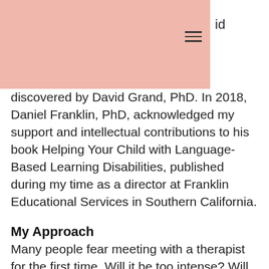id
discovered by David Grand, PhD. In 2018, Daniel Franklin, PhD, acknowledged my support and intellectual contributions to his book Helping Your Child with Language-Based Learning Disabilities, published during my time as a director at Franklin Educational Services in Southern California.
My Approach
Many people fear meeting with a therapist for the first time. Will it be too intense? Will they "get" what I'm going through? Will I really start to feel better? So they put off that first appointment because it can feel